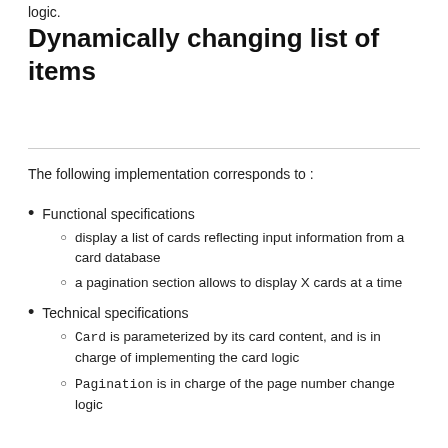logic.
Dynamically changing list of items
The following implementation corresponds to :
Functional specifications
display a list of cards reflecting input information from a card database
a pagination section allows to display X cards at a time
Technical specifications
Card is parameterized by its card content, and is in charge of implementing the card logic
Pagination is in charge of the page number change logic